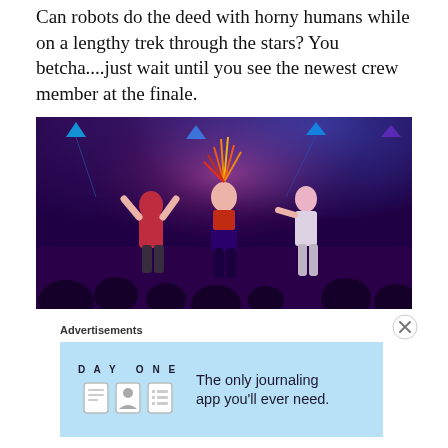Can robots do the deed with horny humans while on a lengthy trek through the stars? You betcha....just wait until you see the newest crew member at the finale.
[Figure (photo): Stage performance scene with dancers and performers under purple and blue stage lighting, with audience visible in foreground. A central figure in elaborate costume with spiky headdress stands among other costumed performers.]
Advertisements
[Figure (screenshot): Advertisement for Day One journaling app. Shows 'DAY ONE' branding with app icons and text 'The only journaling app you'll ever need.' on a light blue background.]